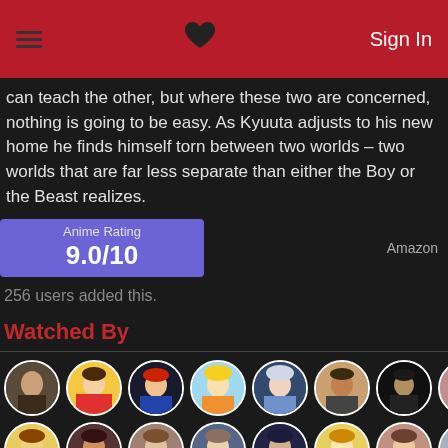Sign In
can teach the other, but where these two are concerned, nothing is going to be easy. As Kyuuta adjusts to his new home he finds himself torn between two worlds – two worlds that are far less separate than either the Boy or the Beast realizes.
Anime Rating 9.0/10
Amazon
256 users added this.
Watched By
[Figure (photo): Row of circular user avatar profile pictures showing anime and real-person profile images]
[Figure (photo): Second row of circular user avatar profile pictures]